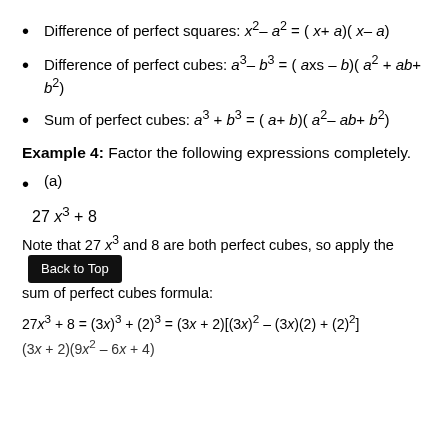Difference of perfect squares: x²– a² = ( x+ a)( x– a)
Difference of perfect cubes: a³– b³ = ( axs – b)( a² + ab+ b²)
Sum of perfect cubes: a³ + b³ = ( a+ b)( a²– ab+ b²)
Example 4: Factor the following expressions completely.
(a)
Note that 27 x³ and 8 are both perfect cubes, so apply the sum of perfect cubes formula: